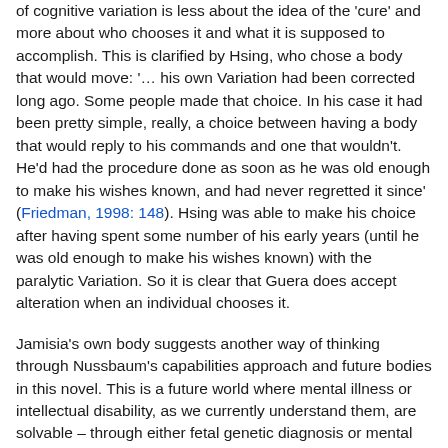of cognitive variation is less about the idea of the 'cure' and more about who chooses it and what it is supposed to accomplish. This is clarified by Hsing, who chose a body that would move: '… his own Variation had been corrected long ago. Some people made that choice. In his case it had been pretty simple, really, a choice between having a body that would reply to his commands and one that wouldn't. He'd had the procedure done as soon as he was old enough to make his wishes known, and had never regretted it since' (Friedman, 1998: 148). Hsing was able to make his choice after having spent some number of his early years (until he was old enough to make his wishes known) with the paralytic Variation. So it is clear that Guera does accept alteration when an individual chooses it.
Jamisia's own body suggests another way of thinking through Nussbaum's capabilities approach and future bodies in this novel. This is a future world where mental illness or intellectual disability, as we currently understand them, are solvable – through either fetal genetic diagnosis or mental health treatment. Earth has a